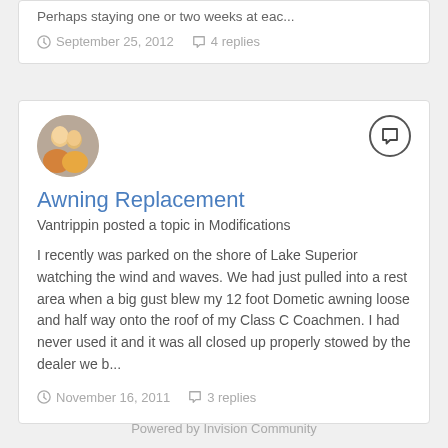Perhaps staying one or two weeks at eac...
September 25, 2012   4 replies
Awning Replacement
Vantrippin posted a topic in Modifications
I recently was parked on the shore of Lake Superior watching the wind and waves. We had just pulled into a rest area when a big gust blew my 12 foot Dometic awning loose and half way onto the roof of my Class C Coachmen. I had never used it and it was all closed up properly stowed by the dealer we b...
November 16, 2011   3 replies
Powered by Invision Community